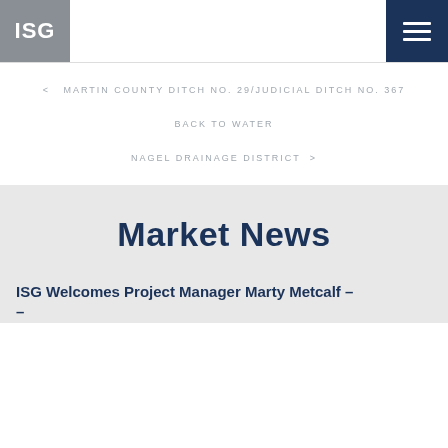ISG
< MARTIN COUNTY DITCH NO. 29/JUDICIAL DITCH NO. 367
BACK TO WATER
NAGEL DRAINAGE DISTRICT >
Market News
ISG Welcomes Project Manager Marty Metcalf –